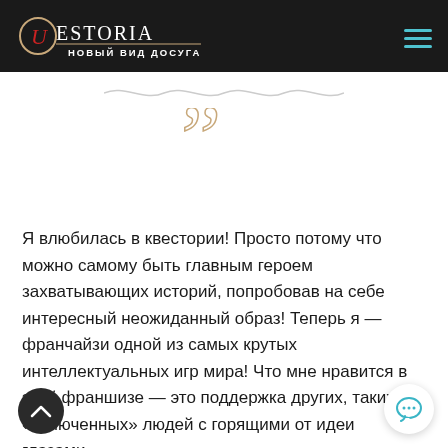QUESTORIA НОВЫЙ ВИД ДОСУГА
[Figure (illustration): Decorative wavy line divider in light gray]
[Figure (illustration): Large golden closing double quotation mark decorative symbol]
Я влюбилась в квестории! Просто потому что можно самому быть главным героем захватывающих историй, попробовав на себе интересный неожиданный образ! Теперь я — франчайзи одной из самых крутых интеллектуальных игр мира! Что мне нравится в этой франшизе — это поддержка других, таких же «включенных» людей с горящими от идеи глазами.